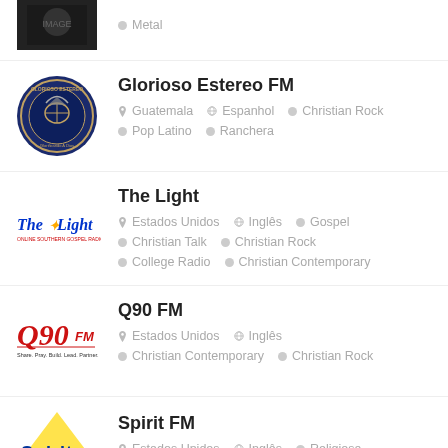[Figure (logo): Partial view of a dark metal band logo image at the top]
Metal
[Figure (logo): Glorioso Estereo FM circular logo with blue background and angel imagery]
Glorioso Estereo FM
Guatemala  Espanhol  Christian Rock  Pop Latino  Ranchera
[Figure (logo): The Light - Online Southern Gospel Radio logo in blue and red text]
The Light
Estados Unidos  Inglês  Gospel  Christian Talk  Christian Rock  College Radio  Christian Contemporary
[Figure (logo): Q90 FM logo with red stylized text - Share. Pray. Build. Lead. Partner.]
Q90 FM
Estados Unidos  Inglês  Christian Contemporary  Christian Rock
[Figure (logo): Spirit FM logo partially visible at bottom]
Spirit FM
Estados Unidos  Inglês  Religiosa